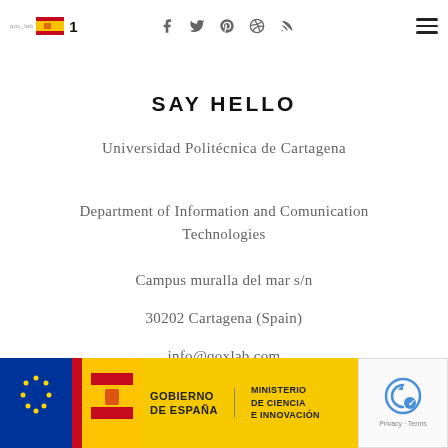qox_lab logo with Spanish flag and social icons
SAY HELLO
Universidad Politécnica de Cartagena
Department of Information and Comunication Technologies
Campus muralla del mar s/n
30202 Cartagena (Spain)
info@qoxlab.com
[Figure (logo): QOX_LAB logo with circle icon]
[Figure (logo): Gobierno de España - Ministerio de Ciencia e Innovación yellow banner logo]